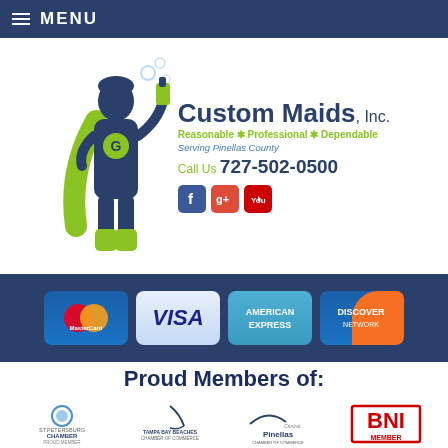MENU
[Figure (logo): Custom Maids Inc. logo with superhero maid figure, company name, tagline 'Reasonable * Professional * Dependable', 'Serving Pinellas County', phone number 727-502-0500, and social media icons for Facebook, Google+, and YouTube]
[Figure (infographic): Payment methods accepted: MasterCard, VISA, American Express, Discover Network — shown as card logos on a dark navy background]
Proud Members of:
[Figure (logo): Four membership organization logos: St. Petersburg Chamber Proud Member, Tampa Bay Beaches Chamber of Commerce, Central Pinellas Chamber of Commerce, BNI Member]